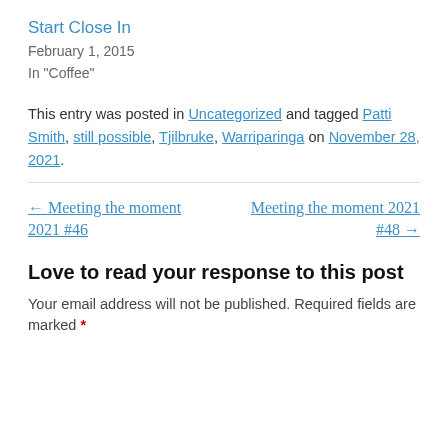Start Close In
February 1, 2015
In "Coffee"
This entry was posted in Uncategorized and tagged Patti Smith, still possible, Tjilbruke, Warriparinga on November 28, 2021.
← Meeting the moment 2021 #46
Meeting the moment 2021 #48 →
Love to read your response to this post
Your email address will not be published. Required fields are marked *